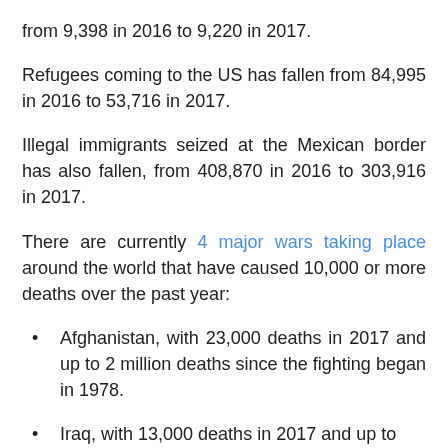from 9,398 in 2016 to 9,220 in 2017.
Refugees coming to the US has fallen from 84,995 in 2016 to 53,716 in 2017.
Illegal immigrants seized at the Mexican border has also fallen, from 408,870 in 2016 to 303,916 in 2017.
There are currently 4 major wars taking place around the world that have caused 10,000 or more deaths over the past year:
Afghanistan, with 23,000 deaths in 2017 and up to 2 million deaths since the fighting began in 1978.
Iraq, with 13,000 deaths in 2017 and up to